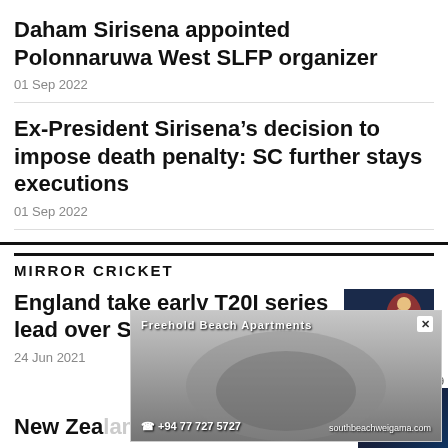Daham Sirisena appointed Polonnaruwa West SLFP organizer
01 Sep 2022
Ex-President Sirisena’s decision to impose death penalty: SC further stays executions
01 Sep 2022
MIRROR CRICKET
England take early T20I series lead over Sri Lanka
24 Jun 2021
[Figure (photo): Cricket player batting, wearing blue uniform]
[Figure (photo): Advertisement overlay: Freehold Beach Apartments, phone +94 77 727 5727, southbeachweigama.com]
New Zealand clinch World Test Championship Final 2021